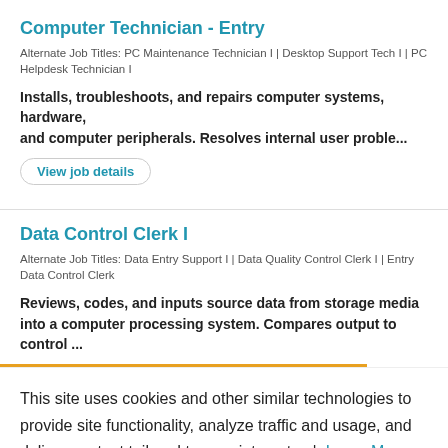Computer Technician - Entry
Alternate Job Titles: PC Maintenance Technician I | Desktop Support Tech I | PC Helpdesk Technician I
Installs, troubleshoots, and repairs computer systems, hardware, and computer peripherals. Resolves internal user proble...
View job details
Data Control Clerk I
Alternate Job Titles: Data Entry Support I | Data Quality Control Clerk I | Entry Data Control Clerk
Reviews, codes, and inputs source data from storage media into a computer processing system. Compares output to control ...
This site uses cookies and other similar technologies to provide site functionality, analyze traffic and usage, and deliver content tailored to your interests. | Learn More
I Accept